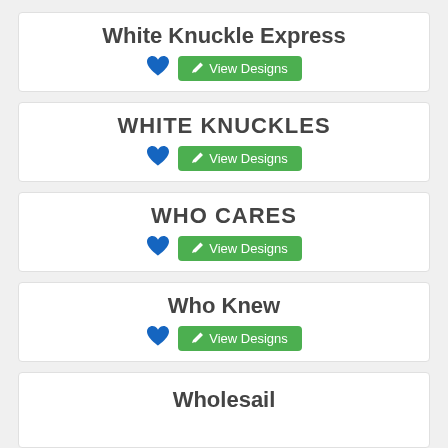White Knuckle Express
View Designs
WHITE KNUCKLES
View Designs
WHO CARES
View Designs
Who Knew
View Designs
Wholesail